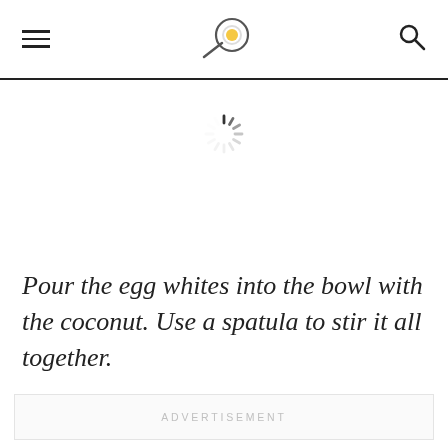[Figure (other): Cooking website logo: a frying pan with an egg icon]
[Figure (other): Loading spinner (spinning dashes arranged in a circle)]
Pour the egg whites into the bowl with the coconut. Use a spatula to stir it all together.
ADVERTISEMENT